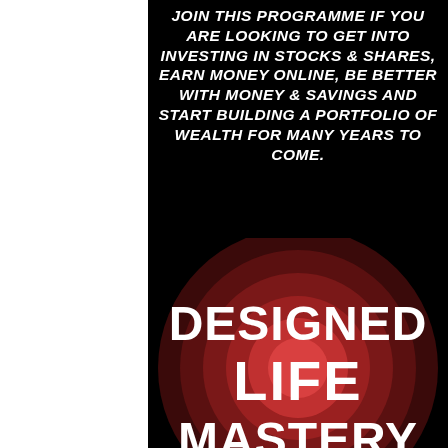JOIN THIS PROGRAMME IF YOU ARE LOOKING TO GET INTO INVESTING IN STOCKS & SHARES, EARN MONEY ONLINE, BE BETTER WITH MONEY & SAVINGS AND START BUILDING A PORTFOLIO OF WEALTH FOR MANY YEARS TO COME.
[Figure (logo): Designed Life Mastery logo: concentric red/dark-red circles with bold white text reading DESIGNED LIFE MASTERY on a black background]